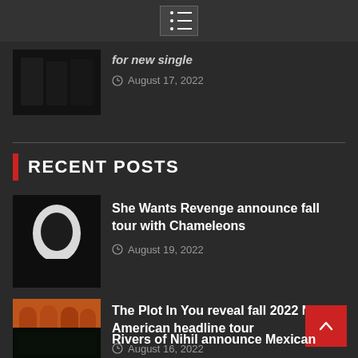[Figure (other): Hamburger menu icon in top navigation bar]
for new single
August 17, 2022
RECENT POSTS
[Figure (photo): Black and white photo of She Wants Revenge artist]
She Wants Revenge announce fall tour with Chameleons
August 19, 2022
[Figure (photo): Orange background photo of The Plot In You band members]
The Plot In You reveal fall 2022 North American headline tour
August 16, 2022
[Figure (photo): Dark photo for Rivers of Nihil article]
Rivers of Nihil announce Mexican